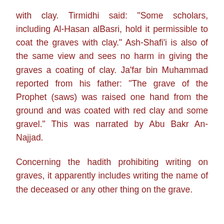with clay. Tirmidhi said: "Some scholars, including Al-Hasan alBasri, hold it permissible to coat the graves with clay." Ash-Shafi'i is also of the same view and sees no harm in giving the graves a coating of clay. Ja'far bin Muhammad reported from his father: "The grave of the Prophet (saws) was raised one hand from the ground and was coated with red clay and some gravel." This was narrated by Abu Bakr An-Najjad.
Concerning the hadith prohibiting writing on graves, it apparently includes writing the name of the deceased or any other thing on the grave.